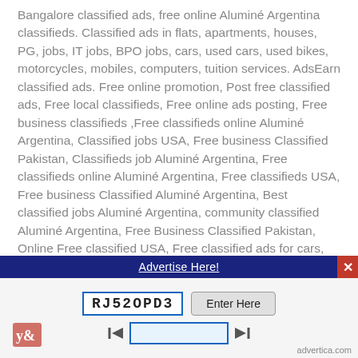Bangalore classified ads, free online Aluminé Argentina classifieds. Classified ads in flats, apartments, houses, PG, jobs, IT jobs, BPO jobs, cars, used cars, used bikes, motorcycles, mobiles, computers, tuition services. AdsEarn classified ads. Free online promotion, Post free classified ads, Free local classifieds, Free online ads posting, Free business classifieds ,Free classifieds online Aluminé Argentina, Classified jobs USA, Free business Classified Pakistan, Classifieds job Aluminé Argentina, Free classifieds online Aluminé Argentina, Free classifieds USA, Free business Classified Aluminé Argentina, Best classified jobs Aluminé Argentina, community classified Aluminé Argentina, Free Business Classified Pakistan, Online Free classified USA, Free classified ads for cars, jobs, real estate, and
[Figure (other): Dark blue advertisement bar with 'Advertise Here!' link in white underlined text, and a red close button (X) on the right]
[Figure (other): CAPTCHA widget with an image showing 'RJ52OPD3' in a blue-bordered box, an 'Enter Here' button, navigation arrows with an input field, and advertica.com branding in the bottom right]